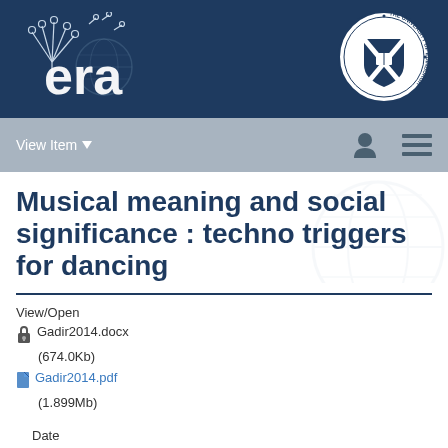[Figure (logo): ERA repository logo with dandelion and globe on dark blue background, alongside University of Edinburgh crest]
View Item ▾
Musical meaning and social significance : techno triggers for dancing
View/Open
🔒 Gadir2014.docx (674.0Kb)
📄 Gadir2014.pdf (1.899Mb)
Date